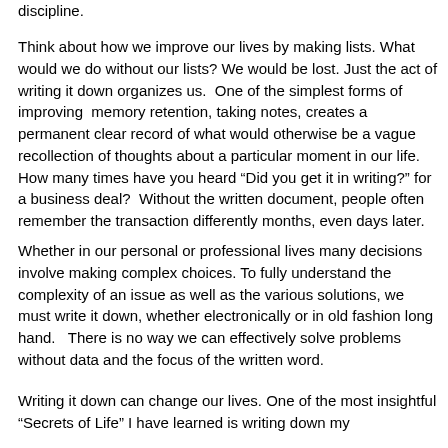discipline.
Think about how we improve our lives by making lists. What would we do without our lists? We would be lost. Just the act of writing it down organizes us.  One of the simplest forms of improving  memory retention, taking notes, creates a permanent clear record of what would otherwise be a vague recollection of thoughts about a particular moment in our life. How many times have you heard “Did you get it in writing?” for a business deal?  Without the written document, people often remember the transaction differently months, even days later.
Whether in our personal or professional lives many decisions involve making complex choices. To fully understand the complexity of an issue as well as the various solutions, we must write it down, whether electronically or in old fashion long hand.   There is no way we can effectively solve problems without data and the focus of the written word.
Writing it down can change our lives. One of the most insightful “Secrets of Life” I have learned is writing down my